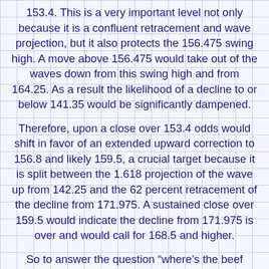153.4. This is a very important level not only because it is a confluent retracement and wave projection, but it also protects the 156.475 swing high. A move above 156.475 would take out of the waves down from this swing high and from 164.25. As a result the likelihood of a decline to or below 141.35 would be significantly dampened.
Therefore, upon a close over 153.4 odds would shift in favor of an extended upward correction to 156.8 and likely 159.5, a crucial target because it is split between the 1.618 projection of the wave up from 142.25 and the 62 percent retracement of the decline from 171.975. A sustained close over 159.5 would indicate the decline from 171.975 is over and would call for 168.5 and higher.
So to answer the question “where’s the beef going?”; technical factors show that prices will most likely fall once the Labor Day demand boost passes. Look for